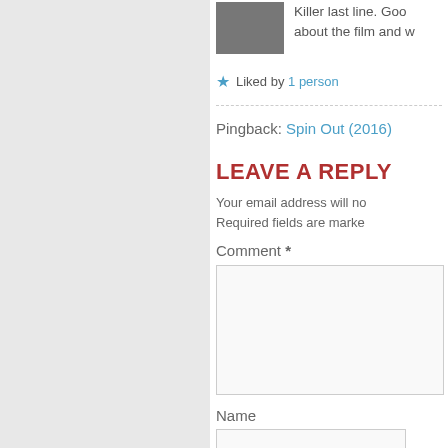Killer last line. Good about the film and w
Liked by 1 person
Pingback: Spin Out (2016)
LEAVE A REPLY
Your email address will no Required fields are marke
Comment *
Name